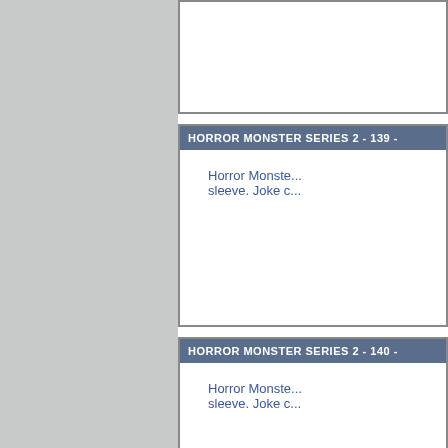HORROR MONSTER SERIES 2 - 139 -
Horror Monste... sleeve. Joke c...
HORROR MONSTER SERIES 2 - 140 -
Horror Monste... sleeve. Joke c...